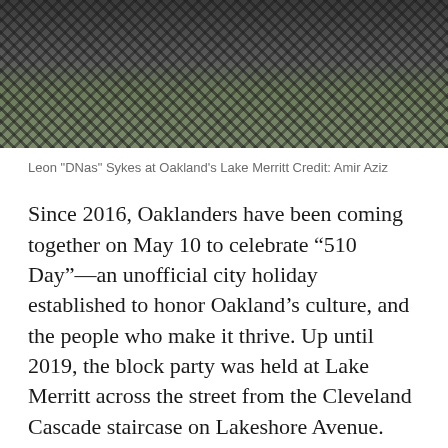[Figure (photo): Photo of Leon 'DNas' Sykes at Oakland's Lake Merritt — person wearing a dark plaid/grid-patterned jacket, seated on grass]
Leon "DNas" Sykes at Oakland's Lake Merritt Credit: Amir Aziz
Since 2016, Oaklanders have been coming together on May 10 to celebrate “510 Day”—an unofficial city holiday established to honor Oakland’s culture, and the people who make it thrive. Up until 2019, the block party was held at Lake Merritt across the street from the Cleveland Cascade staircase on Lakeshore Avenue. Then the pandemic happened, and like so many other events, the party turned digital.